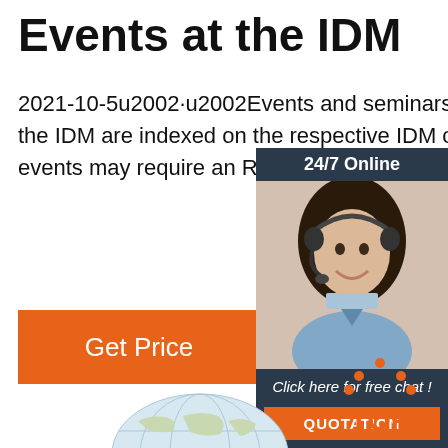Events at the IDM
2021-10-5u2002·u2002Events and seminars hosted and/or organised by the IDM are indexed on the respective IDM calendars. Kindly note certain events may require an R.S.V.P or regist
[Figure (other): Orange 'Get Price' button]
[Figure (other): 24/7 Online chat advertisement widget with woman wearing headset, 'Click here for free chat!' text, and orange QUOTATION button]
[Figure (other): Orange and grey TOP icon with dots forming triangle above word TOP]
[Figure (other): Globe/earth image partially visible at bottom of page]